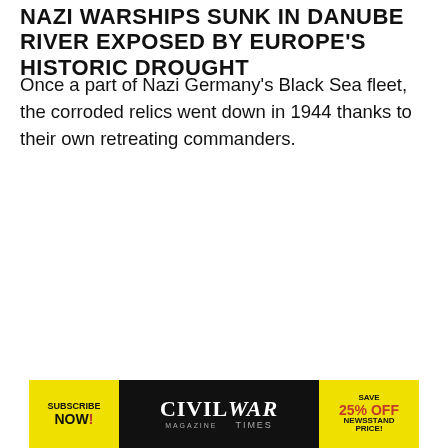NAZI WARSHIPS SUNK IN DANUBE RIVER EXPOSED BY EUROPE'S HISTORIC DROUGHT
Once a part of Nazi Germany's Black Sea fleet, the corroded relics went down in 1944 thanks to their own retreating commanders.
[Figure (photo): Empty white placeholder image box with a STORIES button overlay at the bottom]
[Figure (infographic): Civil War Times magazine advertisement banner with yellow Subscribe Now section, black center with CIVIL WAR TIMES magazine logo, and yellow right section with SAVE 25% OFF NEWSSTAND PRICE!]